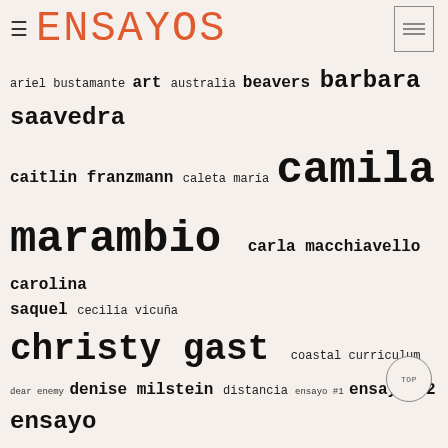≡ ENSAYOS
ariel bustamante art australia beavers barbara saavedra caitlin franzmann caleta maría camila marambio carla macchiavello carolina saquel cecilia vicuña christy gast coastal curriculum dear enemy denise milstein distancia ensayo #1 ensayo #2 ensayo #3 ensayo #4 ensayo #6 geir tore holm hema'ny molina interview ivette martinez julio gastón contreras kadist art foundation karolin tampere karukinka laura ogden melbourne new museum norway performance presentation randi nygård residencies sarita lopez scent science søssa jørgensen tierra del fuego video wcs